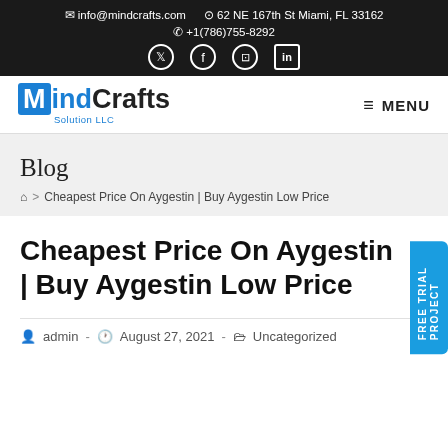info@mindcrafts.com  62 NE 167th St Miami, FL 33162  +1(786)755-8292
[Figure (logo): MindCrafts Solution LLC logo with blue M box and blue/black text]
Blog
🏠 > Cheapest Price On Aygestin | Buy Aygestin Low Price
Cheapest Price On Aygestin | Buy Aygestin Low Price
admin  ·  August 27, 2021  ·  Uncategorized